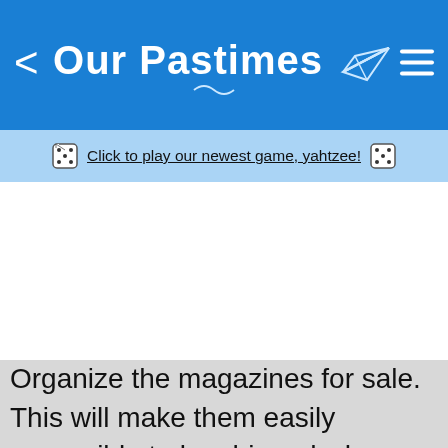Our Pastimes
Click to play our newest game, yahtzee!
Organize the magazines for sale. This will make them easily accessible to be shipped when ordered. Organize so that older magazines that